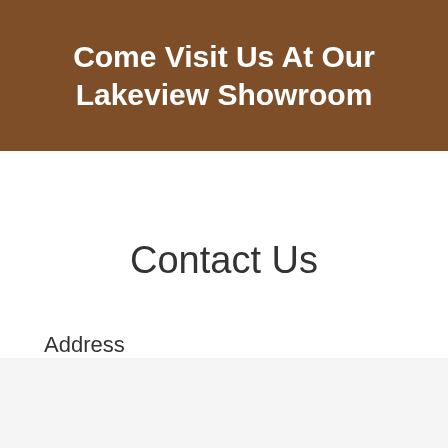Come Visit Us At Our Lakeview Showroom
Contact Us
Address